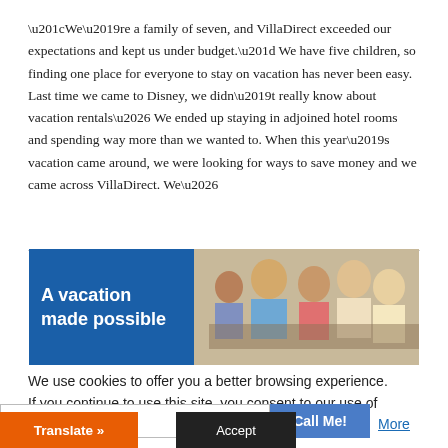“We’re a family of seven, and VillaDirect exceeded our expectations and kept us under budget.” We have five children, so finding one place for everyone to stay on vacation has never been easy. Last time we came to Disney, we didn’t really know about vacation rentals… We ended up staying in adjoined hotel rooms and spending way more than we wanted to. When this year’s vacation came around, we were looking for ways to save money and we came across VillaDirect. We…
[Figure (photo): Banner image showing a family of several people (adults and children) gathered together looking at something, with a blue panel on the left reading 'A vacation made possible' in bold white text.]
We use cookies to offer you a better browsing experience. If you continue to use this site, you consent to our use of
More